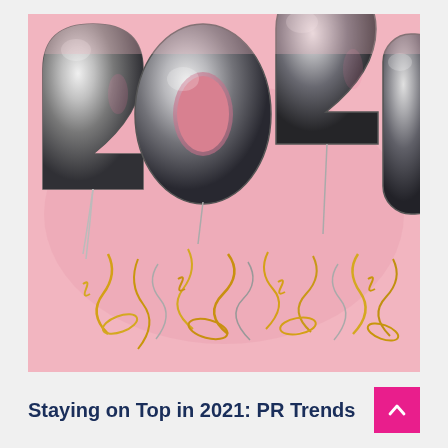[Figure (photo): Silver metallic balloon numbers '2021' on a pink background with gold and silver ribbons/confetti at the base.]
Staying on Top in 2021: PR Trends